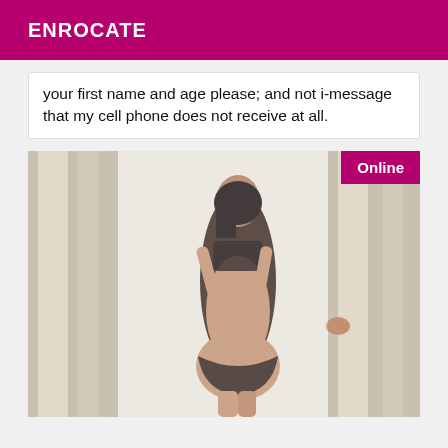ENROCATE
your first name and age please; and not i-message that my cell phone does not receive at all.
[Figure (photo): Woman in lingerie standing by curtains near a bright window, viewed from behind. An 'Online' badge appears in the top-right corner of the photo.]